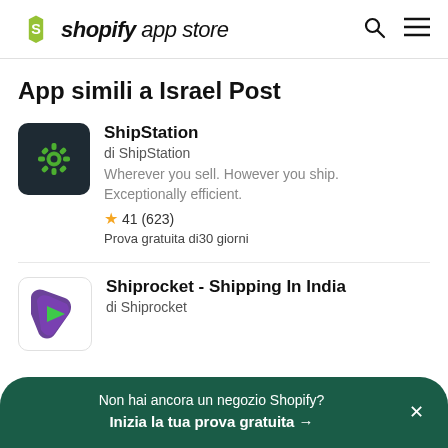shopify app store
App simili a Israel Post
ShipStation
di ShipStation
Wherever you sell. However you ship. Exceptionally efficient.
★ 41 (623)
Prova gratuita di30 giorni
Shiprocket - Shipping In India
di Shiprocket
Non hai ancora un negozio Shopify?
Inizia la tua prova gratuita →